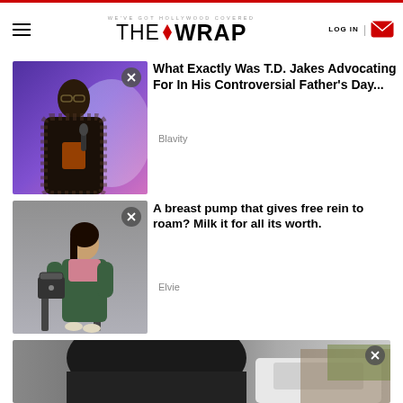WE'VE GOT HOLLYWOOD COVERED — THE WRAP — LOG IN
[Figure (photo): Man in plaid suit jacket holding microphone, purple stage lighting]
What Exactly Was T.D. Jakes Advocating For In His Controversial Father's Day...
Blavity
[Figure (photo): Woman in green outfit seated in chair against grey background, holding bag]
A breast pump that gives free rein to roam? Milk it for all its worth.
Elvie
[Figure (photo): Partial image of person in dark clothing outdoors]